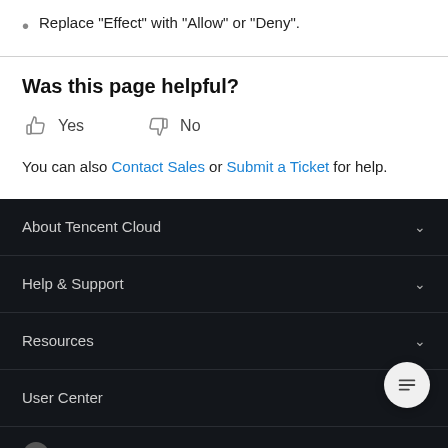Replace "Effect" with "Allow" or "Deny".
Was this page helpful?
Yes   No
You can also Contact Sales or Submit a Ticket for help.
About Tencent Cloud
Help & Support
Resources
User Center
Facebook